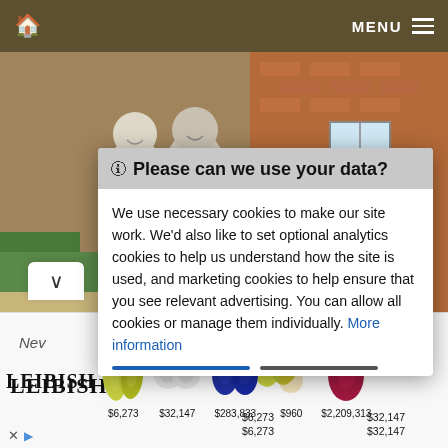🏠  MENU ☰
[Figure (photo): Elderly couple smiling in front of a brick house with windows visible in background]
🛈 Please can we use your data?
We use necessary cookies to make our site work. We'd also like to set optional analytics cookies to help us understand how the site is used, and marketing cookies to help ensure that you see relevant advertising. You can allow all cookies or manage them individually. More information
[Figure (infographic): Advertisement banner showing Leibish jewelry brand with gemstone jewelry items: two yellow pear-shaped gems ($6,273), two small round earrings ($32,147), two blue oval gems ($283,833), a gold necklace with pendant ($960), and one red oval gemstone ($2,209,313)]